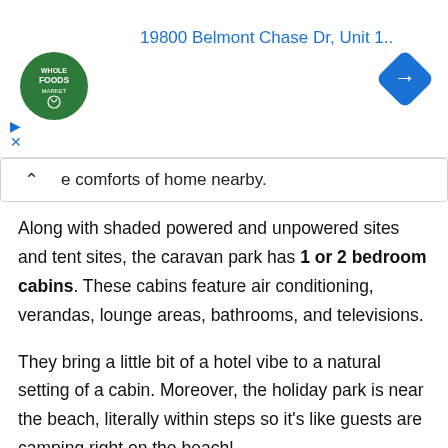[Figure (screenshot): Advertisement banner showing Whole Foods Market logo, address '19800 Belmont Chase Dr, Unit 1..' in blue, navigation arrow icon, play and close icons, and an OPEN label with hours]
e comforts of home nearby.
Along with shaded powered and unpowered sites and tent sites, the caravan park has 1 or 2 bedroom cabins. These cabins feature air conditioning, verandas, lounge areas, bathrooms, and televisions.
They bring a little bit of a hotel vibe to a natural setting of a cabin. Moreover, the holiday park is near the beach, literally within steps so it's like guests are camping right on the beach!
The price for staying at the holiday park varies on the